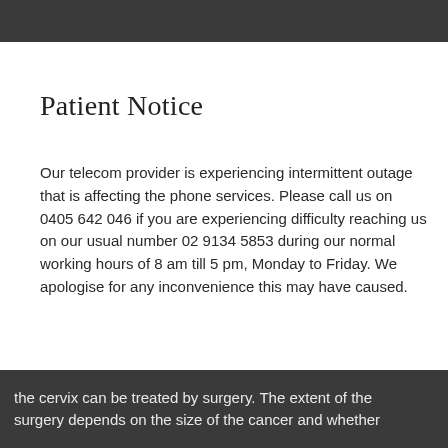Patient Notice
Our telecom provider is experiencing intermittent outage that is affecting the phone services. Please call us on 0405 642 046 if you are experiencing difficulty reaching us on our usual number 02 9134 5853 during our normal working hours of 8 am till 5 pm, Monday to Friday. We apologise for any inconvenience this may have caused.
the cervix can be treated by surgery. The extent of the surgery depends on the size of the cancer and whether